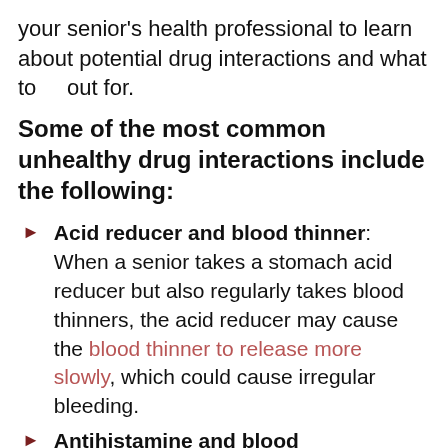your senior's health professional to learn about potential drug interactions and what to look out for.
Some of the most common unhealthy drug interactions include the following:
Acid reducer and blood thinner: When a senior takes a stomach acid reducer but also regularly takes blood thinners, the acid reducer may cause the blood thinner to release more slowly, which could cause irregular bleeding.
Antihistamine and blood